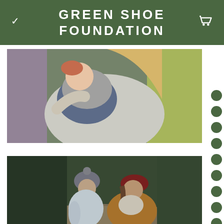GREEN SHOE FOUNDATION
[Figure (photo): A woman outdoors holding and tickling a laughing red-haired child, surrounded by purple flowering plants and green/yellow foliage]
[Figure (photo): A small child in a grey knit hat and light blue jacket standing close to a woman wearing a dark red hat and mustard yellow jacket, on a dirt path surrounded by dark green trees]